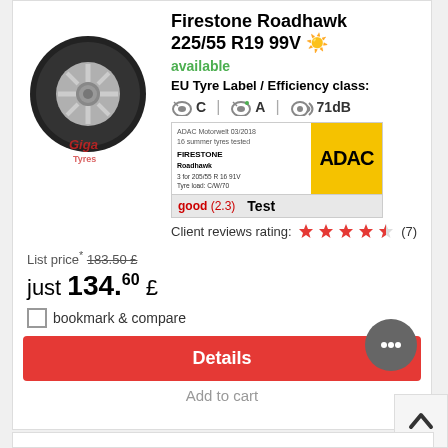Firestone Roadhawk 225/55 R19 99V ☀️
available
EU Tyre Label / Efficiency class:
C  A  71dB
[Figure (infographic): ADAC Motorwelt test badge showing Firestone Roadhawk rated 'good (2.3)' Test, with yellow ADAC logo]
Client reviews rating: ★★★★½ (7)
List price* 183.50 £
just 134.60 £
bookmark & compare
Details
Add to cart